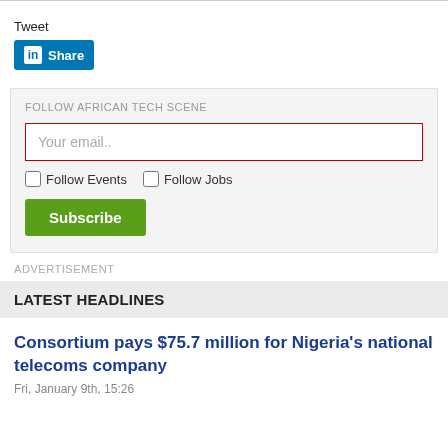Tweet
[Figure (logo): LinkedIn Share button with blue background and white 'in' icon and 'Share' text]
FOLLOW AFRICAN TECH SCENE
Your email..
Follow Events   Follow Jobs
Subscribe
ADVERTISEMENT
LATEST HEADLINES
Consortium pays $75.7 million for Nigeria's national telecoms company
Fri, January 9th, 15:26